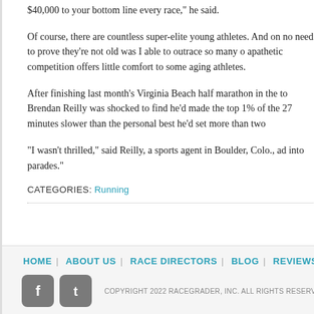$40,000 to your bottom line every race," he said.
Of course, there are countless super-elite young athletes. And one no need to prove they're not old was I able to outrace so many of apathetic competition offers little comfort to some aging athletes.
After finishing last month's Virginia Beach half marathon in the to Brendan Reilly was shocked to find he'd made the top 1% of the 27 minutes slower than the personal best he'd set more than two
“I wasn't thrilled,” said Reilly, a sports agent in Boulder, Colo., add into parades.”
CATEGORIES: Running
HOME | ABOUT US | RACE DIRECTORS | BLOG | REVIEWS | T COPYRIGHT 2022 RACEGRADER, INC. ALL RIGHTS RESERV